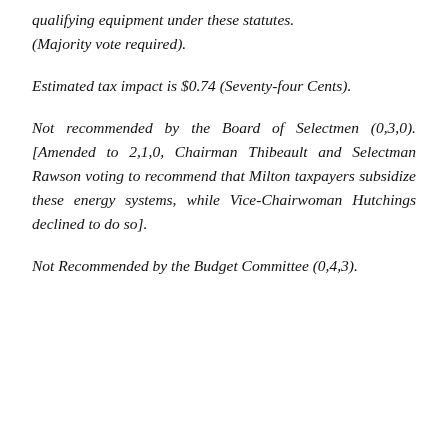qualifying equipment under these statutes. (Majority vote required).
Estimated tax impact is $0.74 (Seventy-four Cents).
Not recommended by the Board of Selectmen (0,3,0). [Amended to 2,1,0, Chairman Thibeault and Selectman Rawson voting to recommend that Milton taxpayers subsidize these energy systems, while Vice-Chairwoman Hutchings declined to do so].
Not Recommended by the Budget Committee (0,4,3).